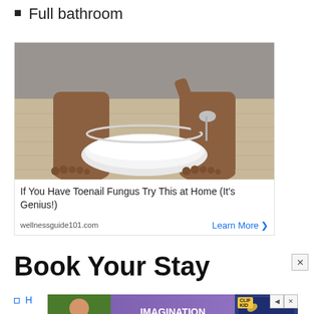Full bathroom
[Figure (photo): Advertisement photo showing person's bare feet next to a white bowl on a wooden floor, with a spoon being held over the bowl. Ad for toenail fungus remedy.]
If You Have Toenail Fungus Try This at Home (It's Genius!)
wellnessguide101.com
Learn More >
Book Your Stay
[Figure (photo): Advertisement banner showing a child with snacks, Clif Kid branding, text 'IMAGINATION NEEDS FUEL', cookies and protein bar visible.]
H...